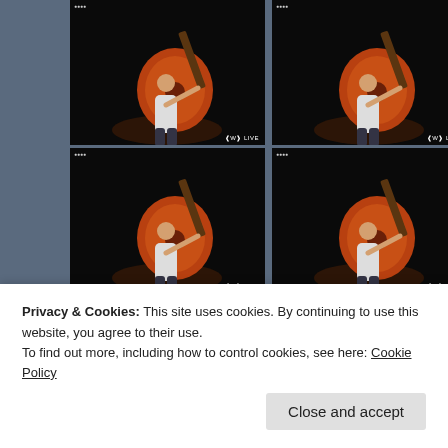[Figure (screenshot): Grid of 5 video thumbnails showing a musician playing a large acoustic guitar on a dark stage, each with a WWE LIVE badge in the bottom right and a timestamp in the top left. The top row has 2 thumbnails, the second row has 2 thumbnails, and the third row has 1 thumbnail on the left.]
Privacy & Cookies: This site uses cookies. By continuing to use this website, you agree to their use.
To find out more, including how to control cookies, see here: Cookie Policy
Close and accept